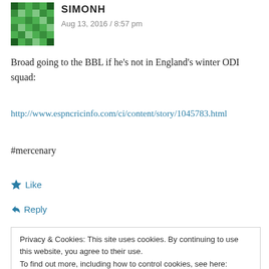[Figure (other): Green pixelated avatar/gravatar icon]
SIMONH
Aug 13, 2016 / 8:57 pm
Broad going to the BBL if he's not in England's winter ODI squad:
http://www.espncricinfo.com/ci/content/story/1045783.html
#mercenary
★ Like
↩ Reply
Privacy & Cookies: This site uses cookies. By continuing to use this website, you agree to their use.
To find out more, including how to control cookies, see here: Cookie Policy
Close and accept
take his labour where he pleases. All the overseas